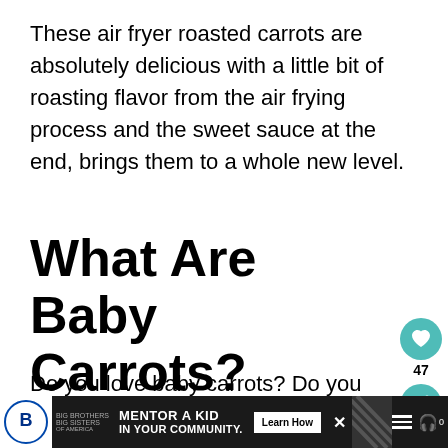These air fryer roasted carrots are absolutely delicious with a little bit of roasting flavor from the air frying process and the sweet sauce at the end, brings them to a whole new level.
What Are Baby Carrots?
Do you love baby carrots? Do you know what they are? Baby carrots are simply
[Figure (other): Teal circular heart button with count 47, and teal circular share button below]
[Figure (other): Advertisement banner for Big Brothers Big Sisters: MENTOR A KID IN YOUR COMMUNITY. Learn How button. Dark background with diagonal stripes pattern on right side and menu/headphone icons.]